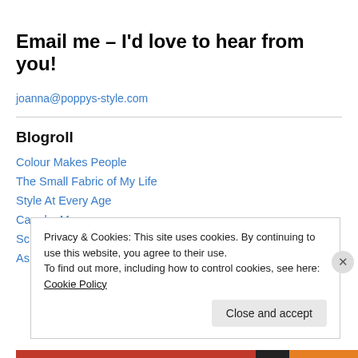Email me – I'd love to hear from you!
joanna@poppys-style.com
Blogroll
Colour Makes People
The Small Fabric of My Life
Style At Every Age
Care by Me
School Gate Style
Ash Rural Mum Style
Privacy & Cookies: This site uses cookies. By continuing to use this website, you agree to their use.
To find out more, including how to control cookies, see here: Cookie Policy
Close and accept